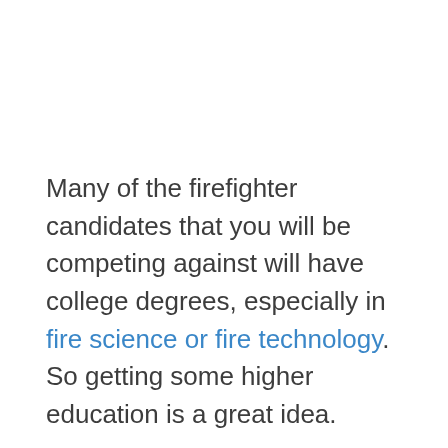Many of the firefighter candidates that you will be competing against will have college degrees, especially in fire science or fire technology. So getting some higher education is a great idea.
Learning fire technology at your local community college will help demonstrate